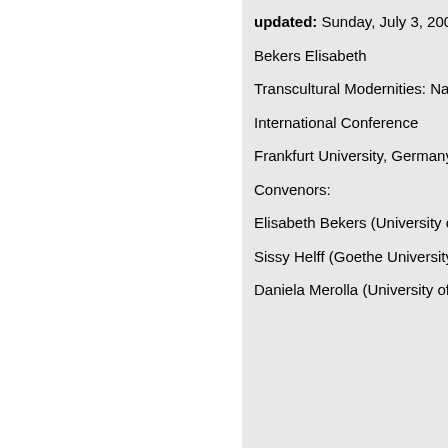updated: Sunday, July 3, 200…
Bekers Elisabeth
Transcultural Modernities: Na…
International Conference
Frankfurt University, Germany…
Convenors:
Elisabeth Bekers (University o…
Sissy Helff (Goethe University…
Daniela Merolla (University of…
CFP: Transcultural Mo…
(12/1/05: 6/1/06-6/3/…